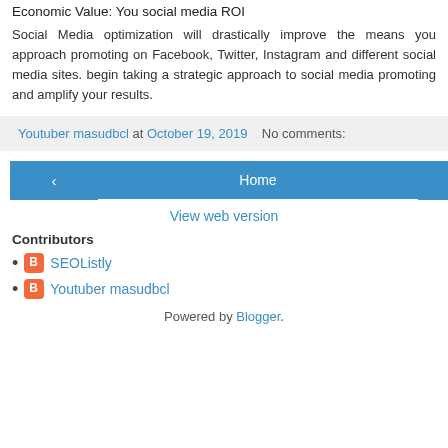Economic Value: You social media ROI
Social Media optimization will drastically improve the means you approach promoting on Facebook, Twitter, Instagram and different social media sites. begin taking a strategic approach to social media promoting and amplify your results.
Youtuber masudbcl at October 19, 2019   No comments:
‹  Home  ›  View web version
Contributors
SEOListly
Youtuber masudbcl
Powered by Blogger.